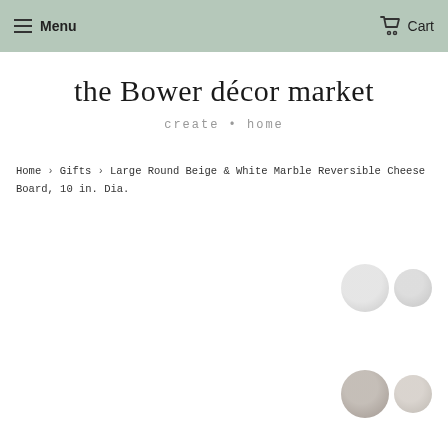Menu   Cart
the Bower décor market
create • home
Home › Gifts › Large Round Beige & White Marble Reversible Cheese Board, 10 in. Dia.
[Figure (illustration): Two overlapping circles — larger light grey circle and smaller grey circle — appearing twice (top-right and bottom-right), suggesting color/material swatches for a marble cheese board product.]